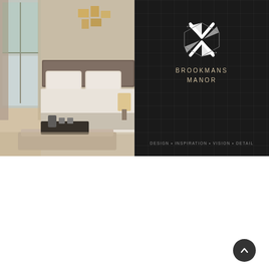[Figure (photo): Interior bedroom photograph showing a luxury double bed with cream/white bedding, a bench at the foot of the bed, bedside table with lamp, and French doors letting in natural light. Warm neutral tones throughout.]
[Figure (logo): Brookmans Manor logo: a geometric diamond/X pattern in white on dark background, with text 'BROOKMANS MANOR' in gold spaced capitals below, and tagline 'DESIGN • INSPIRATION • VISION • DETAIL' at the bottom of the dark panel.]
One of the most powerful methods of using segmentation is localising your content to different geographic locations.
On a basic level, any copy should be translated